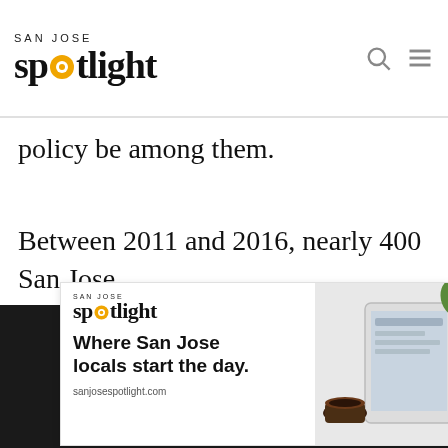San Jose Spotlight
policy be among them.
Between 2011 and 2016, nearly 400 San Jose
[Figure (advertisement): San Jose Spotlight advertisement: logo with spotlight dot, tagline 'Where San Jose locals start the day.', URL sanjosespotlight.com, with photo of tablet and coffee on right side. Close X button in top right.]
[Figure (screenshot): Newsletter subscription widget on dark background: EMAIL ADDRESS input field with envelope icon, gold SUBSCRIBE button, and gold 'Thanks, I'm not interested or already a subscriber' link below.]